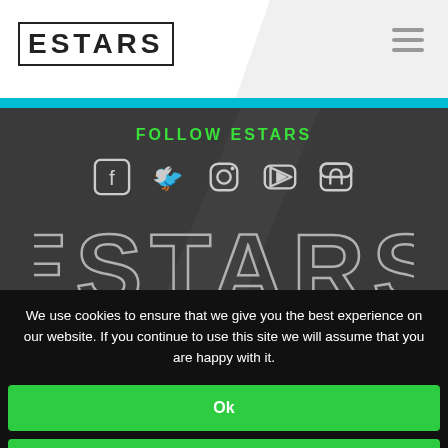ESTARS
FOLLOW ESTARS
[Figure (illustration): Social media icons: Facebook, Twitter, Instagram, YouTube, Twitch]
ESTARS
We use cookies to ensure that we give you the best experience on our website. If you continue to use this site we will assume that you are happy with it.
Ok
Privacy policy